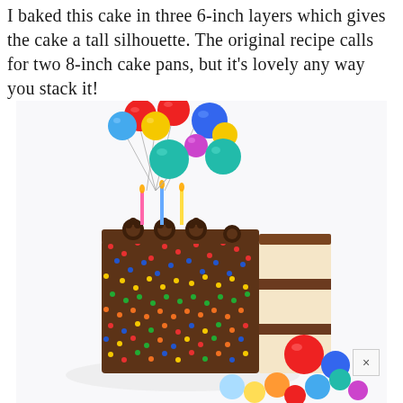I baked this cake in three 6-inch layers which gives the cake a tall silhouette. The original recipe calls for two 8-inch cake pans, but it's lovely any way you stack it!
[Figure (photo): A tall birthday cake with three yellow cake layers filled with chocolate frosting, covered in colorful sprinkles on the outside, topped with chocolate rosettes and colorful balloon decorations on sticks. A slice has been cut and pulled away revealing the interior layers. Additional colorful balloons are scattered in the foreground and background on a white surface.]